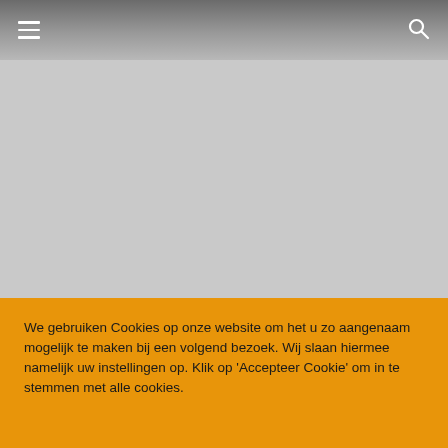[Figure (screenshot): Website header bar with hamburger menu icon on left and search icon on right, dark gray gradient background]
[Figure (photo): Large gray placeholder/blurred content area below the header]
We gebruiken Cookies op onze website om het u zo aangenaam mogelijk te maken bij een volgend bezoek. Wij slaan hiermee namelijk uw instellingen op. Klik op 'Accepteer Cookie' om in te stemmen met alle cookies.
Cookie Instellingen
Accepteer Cookie